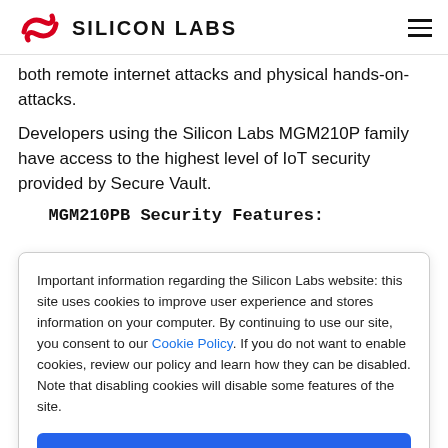SILICON LABS
both remote internet attacks and physical hands-on-attacks.
Developers using the Silicon Labs MGM210P family have access to the highest level of IoT security provided by Secure Vault.
MGM210PB Security Features:
Important information regarding the Silicon Labs website: this site uses cookies to improve user experience and stores information on your computer. By continuing to use our site, you consent to our Cookie Policy. If you do not want to enable cookies, review our policy and learn how they can be disabled. Note that disabling cookies will disable some features of the site.
Accept